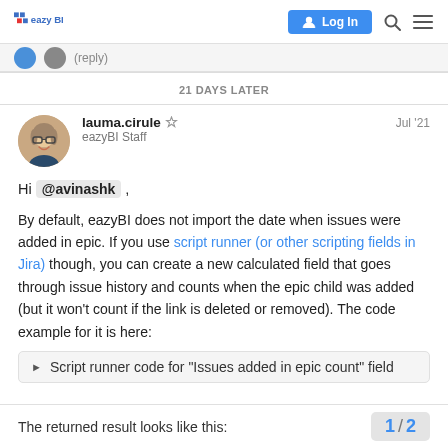eazyBI | Log In
(reply)
21 DAYS LATER
lauma.cirule eazyBI Staff Jul '21
Hi @avinashk ,
By default, eazyBI does not import the date when issues were added in epic. If you use script runner (or other scripting fields in Jira) though, you can create a new calculated field that goes through issue history and counts when the epic child was added (but it won't count if the link is deleted or removed). The code example for it is here:
Script runner code for "Issues added in epic count" field
The returned result looks like this:   1 / 2